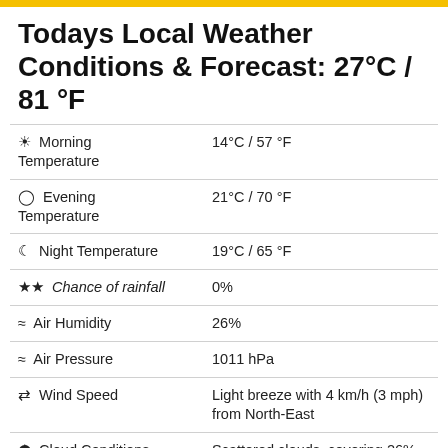Todays Local Weather Conditions & Forecast: 27°C / 81 °F
| ☀ Morning Temperature | 14°C / 57 °F |
| 🕐 Evening Temperature | 21°C / 70 °F |
| ☾ Night Temperature | 19°C / 65 °F |
| 💧 Chance of rainfall | 0% |
| ≈ Air Humidity | 26% |
| ≈ Air Pressure | 1011 hPa |
| ⇄ Wind Speed | Light breeze with 4 km/h (3 mph) from North-East |
| ☁ Cloud Conditions | Scattered clouds, covering 26% of sky |
| ☁ General | Scattered clouds |